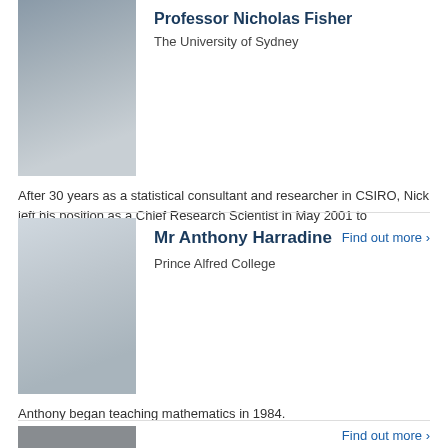[Figure (photo): Portrait photo of Professor Nicholas Fisher, a middle-aged man in a dark suit, smiling]
Professor Nicholas Fisher
The University of Sydney
After 30 years as a statistical consultant and researcher in CSIRO, Nick left his position as a Chief Research Scientist in May 2001 to
Find out more ›
[Figure (photo): Portrait photo of Mr Anthony Harradine, a man in a patterned shirt, smiling and looking to the side]
Mr Anthony Harradine
Prince Alfred College
Anthony began teaching mathematics in 1984.
Find out more ›
[Figure (photo): Partial photo of a third person, only bottom of image visible]